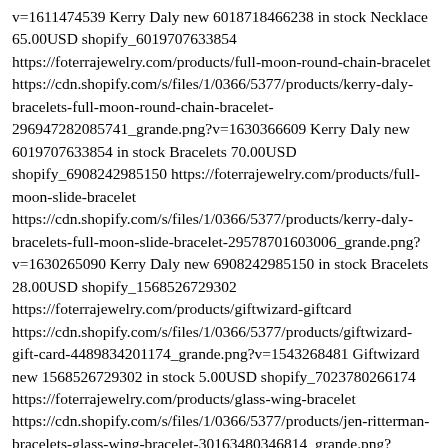v=1611474539 Kerry Daly new 6018718466238 in stock Necklace 65.00USD shopify_6019707633854 https://foterrajewelry.com/products/full-moon-round-chain-bracelet https://cdn.shopify.com/s/files/1/0366/5377/products/kerry-daly-bracelets-full-moon-round-chain-bracelet-296947282085741_grande.png?v=1630366609 Kerry Daly new 6019707633854 in stock Bracelets 70.00USD shopify_6908242985150 https://foterrajewelry.com/products/full-moon-slide-bracelet https://cdn.shopify.com/s/files/1/0366/5377/products/kerry-daly-bracelets-full-moon-slide-bracelet-29578701603006_grande.png?v=1630265090 Kerry Daly new 6908242985150 in stock Bracelets 28.00USD shopify_1568526729302 https://foterrajewelry.com/products/giftwizard-giftcard https://cdn.shopify.com/s/files/1/0366/5377/products/giftwizard-gift-card-4489834201174_grande.png?v=1543268481 Giftwizard new 1568526729302 in stock 5.00USD shopify_7023780266174 https://foterrajewelry.com/products/glass-wing-bracelet https://cdn.shopify.com/s/files/1/0366/5377/products/jen-ritterman-bracelets-glass-wing-bracelet-30163480346814_grande.png?v=1634658002 Jen Ritterman new 7023780266174 in stock Bracelets 70.00USD shopify_7023793930430 https://foterrajewelry.com/products/glass-wing-earrings https://cdn.shopify.com/s/files/1/0366/5377/products/jen-ritterman-